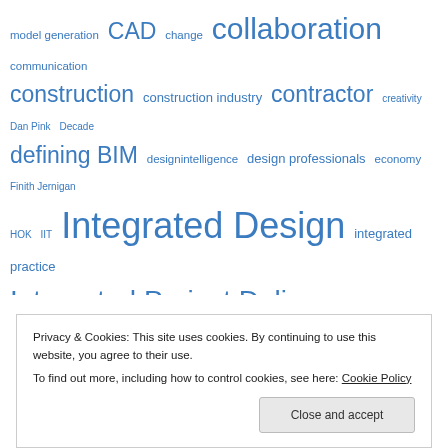[Figure (infographic): Tag cloud with blue-colored terms of varying sizes related to BIM, architecture, and construction topics including: model generation, CAD, change, collaboration, communication, construction, construction industry, contractor, creativity, Dan Pink, Decade, defining BIM, designintelligence, design professionals, economy, Finith Jernigan, HOK, IIT, Integrated Design, integrated practice, Integrated Project Delivery, interoperability, IPD, IT, KA Connect, knowledge management, leadership, lean construction, learning, LEED, Malcolm Gladwell, midcareer professionals, mindset, model making, models, Moneyball, Northwestern University, Pecha Kucha, people, Phil Bernstein, process, publishing, Revit, Revit Users Group, sustainability, T-shaped]
Privacy & Cookies: This site uses cookies. By continuing to use this website, you agree to their use. To find out more, including how to control cookies, see here: Cookie Policy